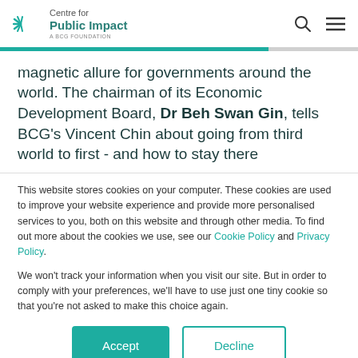Centre for Public Impact — A BCG Foundation
magnetic allure for governments around the world. The chairman of its Economic Development Board, Dr Beh Swan Gin, tells BCG's Vincent Chin about going from third world to first - and how to stay there
This website stores cookies on your computer. These cookies are used to improve your website experience and provide more personalised services to you, both on this website and through other media. To find out more about the cookies we use, see our Cookie Policy and Privacy Policy.

We won't track your information when you visit our site. But in order to comply with your preferences, we'll have to use just one tiny cookie so that you're not asked to make this choice again.